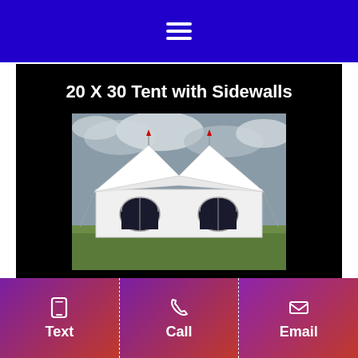Navigation menu (hamburger icon)
20 X 30 Tent with Sidewalls
[Figure (photo): A large white pole tent with sidewalls and arched windows, set up on a grassy field under a cloudy sky]
Quick View
Text | Call | Email